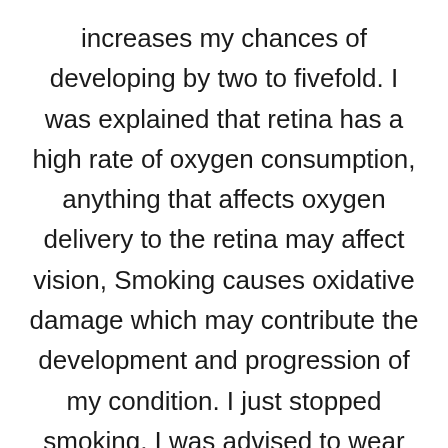increases my chances of developing by two to fivefold. I was explained that retina has a high rate of oxygen consumption, anything that affects oxygen delivery to the retina may affect vision, Smoking causes oxidative damage which may contribute the development and progression of my condition. I just stopped smoking, I was advised to wear sunglasses and hats if possible when outdoors. To get eye exams and consult an eye doctor if I notice changes. Put a light filter in screens and my devices. Following all this action plan I have